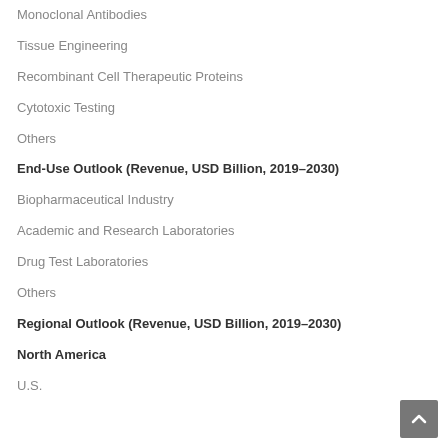Monoclonal Antibodies
Tissue Engineering
Recombinant Cell Therapeutic Proteins
Cytotoxic Testing
Others
End-Use Outlook (Revenue, USD Billion, 2019–2030)
Biopharmaceutical Industry
Academic and Research Laboratories
Drug Test Laboratories
Others
Regional Outlook (Revenue, USD Billion, 2019–2030)
North America
U.S.